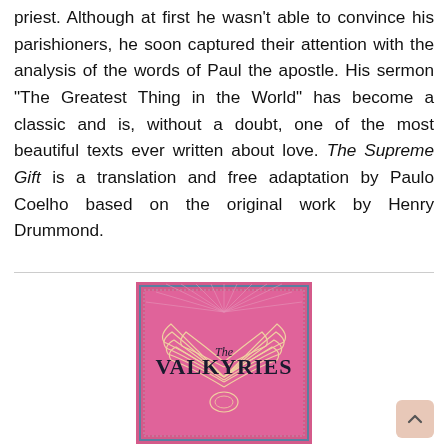priest. Although at first he wasn't able to convince his parishioners, he soon captured their attention with the analysis of the words of Paul the apostle. His sermon "The Greatest Thing in the World" has become a classic and is, without a doubt, one of the most beautiful texts ever written about love. The Supreme Gift is a translation and free adaptation by Paulo Coelho based on the original work by Henry Drummond.
[Figure (photo): Book cover of 'The Valkyries' — pink/magenta background with ornate winged design and title text in black serif font]